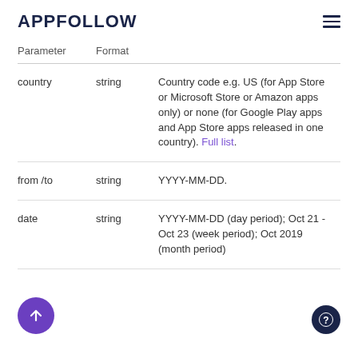APPFOLLOW
| Parameter | Format |  |
| --- | --- | --- |
| country | string | Country code e.g. US (for App Store or Microsoft Store or Amazon apps only) or none (for Google Play apps and App Store apps released in one country). Full list. |
| from /to | string | YYYY-MM-DD. |
| date | string | YYYY-MM-DD (day period); Oct 21 - Oct 23 (week period); Oct 2019 (month period) |